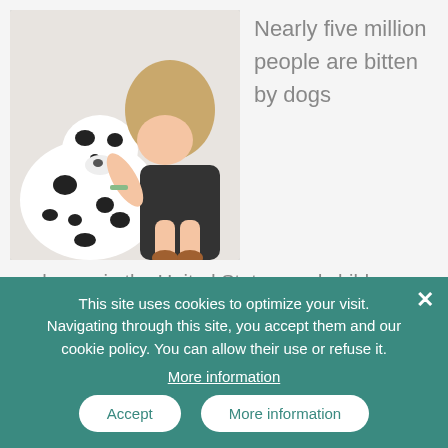[Figure (photo): Young woman hugging a Dalmatian dog indoors]
Nearly five million people are bitten by dogs each year in the United States, and children are at a much higher risk than adults. Dog bites can cause significant psychological and physical damage, and bites to the face often require reconstructive surgery to repair injuries ranging from lacerations to lost tissue. Read more r...
This site uses cookies to optimize your visit.
Navigating through this site, you accept them and our cookie policy. You can allow their use or refuse it.
More information
Accept
More information